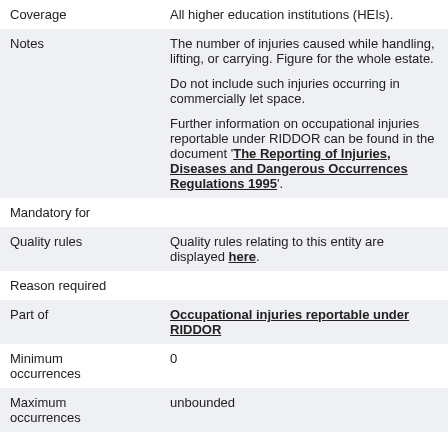| Field | Value |
| --- | --- |
| Coverage | All higher education institutions (HEIs). |
| Notes | The number of injuries caused while handling, lifting, or carrying. Figure for the whole estate.

Do not include such injuries occurring in commercially let space.

Further information on occupational injuries reportable under RIDDOR can be found in the document 'The Reporting of Injuries, Diseases and Dangerous Occurrences Regulations 1995'. |
| Mandatory for |  |
| Quality rules | Quality rules relating to this entity are displayed here. |
| Reason required |  |
| Part of | Occupational injuries reportable under RIDDOR |
| Minimum occurrences | 0 |
| Maximum occurrences | unbounded |